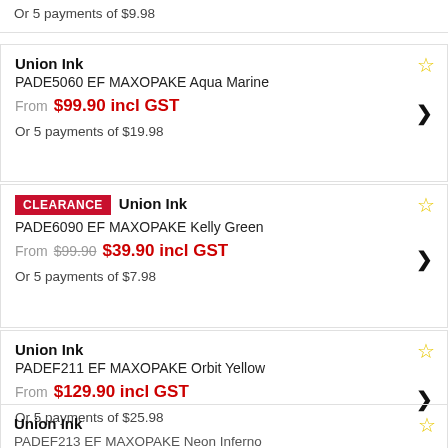Or 5 payments of $9.98
Union Ink PADE5060 EF MAXOPAKE Aqua Marine – From $99.90 incl GST – Or 5 payments of $19.98
CLEARANCE Union Ink PADE6090 EF MAXOPAKE Kelly Green – From $99.90 $39.90 incl GST – Or 5 payments of $7.98
Union Ink PADEF211 EF MAXOPAKE Orbit Yellow – From $129.90 incl GST – Or 5 payments of $25.98
Union Ink PADEF213 EF MAXOPAKE Neon Inferno